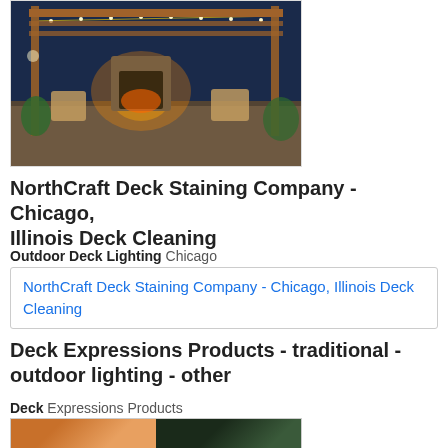[Figure (photo): Outdoor pergola scene at dusk with string lights, fireplace, wicker furniture, and landscaping]
NorthCraft Deck Staining Company - Chicago, Illinois Deck Cleaning
Outdoor Deck Lighting Chicago
[Figure (screenshot): Broken image placeholder showing link text: NorthCraft Deck Staining Company - Chicago, Illinois Deck Cleaning]
Deck Expressions Products - traditional - outdoor lighting - other
Deck Expressions Products
[Figure (photo): Two-panel image showing outdoor deck lighting fixtures at dusk]